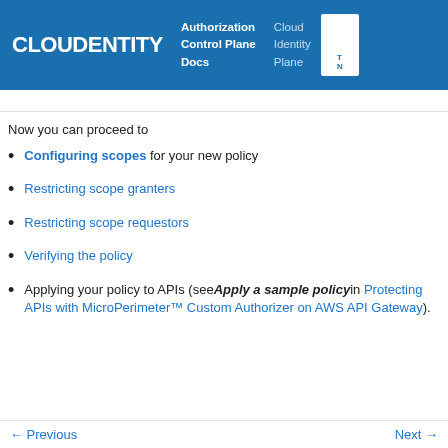CLOUDENTITY | Authorization Control Plane Docs | Cloud Identity Plane
Now you can proceed to
Configuring scopes for your new policy
Restricting scope granters
Restricting scope requestors
Verifying the policy
Applying your policy to APIs (see Apply a sample policy in Protecting APIs with MicroPerimeter™ Custom Authorizer on AWS API Gateway).
← Previous    Next →